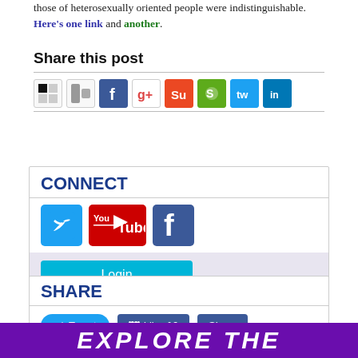those of heterosexually oriented people were indistinguishable. Here's one link and another.
Share this post
[Figure (infographic): Row of social sharing icons: Delicious, Digg, Facebook, Google, StumbleUpon, Stumble green, Twitter, LinkedIn]
CONNECT
[Figure (infographic): Twitter, YouTube, and Facebook social media icon buttons]
Login
SHARE
Tweet  Like 16  Share
EXPLORE THE